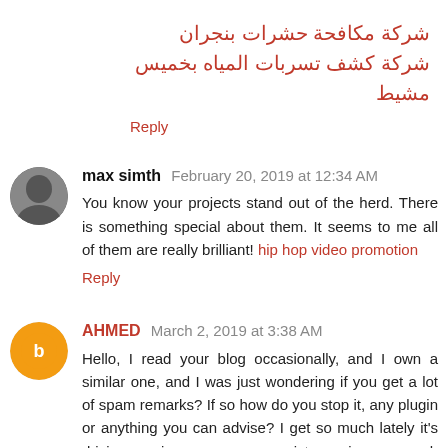شركة مكافحة حشرات بنجران
شركة كشف تسربات المياه بخميس مشيط
Reply
max simth   February 20, 2019 at 12:34 AM
You know your projects stand out of the herd. There is something special about them. It seems to me all of them are really brilliant! hip hop video promotion
Reply
AHMED   March 2, 2019 at 3:38 AM
Hello, I read your blog occasionally, and I own a similar one, and I was just wondering if you get a lot of spam remarks? If so how do you stop it, any plugin or anything you can advise? I get so much lately it's driving me insane, so any assistance is very much appreciated.